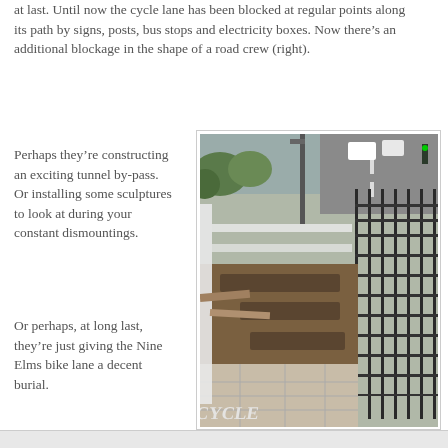at last. Until now the cycle lane has been blocked at regular points along its path by signs, posts, bus stops and electricity boxes. Now there's an additional blockage in the shape of a road crew (right).
Perhaps they're constructing an exciting tunnel by-pass. Or installing some sculptures to look at during your constant dismountings.
[Figure (photo): Photograph of a road construction scene on a city street. Workers have excavated the pavement/cycle lane area next to metal railings. The road is visible to the right with traffic. Soil and paving slabs are disturbed. A cycle lane marking is visible on the ground.]
Or perhaps, at long last, they're just giving the Nine Elms bike lane a decent burial.